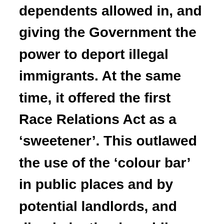dependents allowed in, and giving the Government the power to deport illegal immigrants. At the same time, it offered the first Race Relations Act as a 'sweetener'. This outlawed the use of the 'colour bar' in public places and by potential landlords, and discrimination in public services, also banning incitement to racial hatred like that seen in the Smethwick campaign. At the time, it was